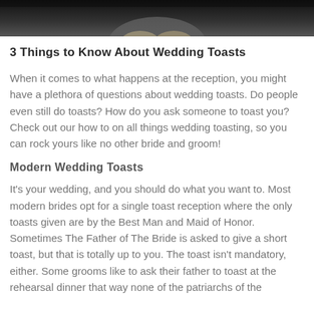[Figure (photo): Cropped wedding photo showing hands or couple against a dark background]
3 Things to Know About Wedding Toasts
When it comes to what happens at the reception, you might have a plethora of questions about wedding toasts. Do people even still do toasts? How do you ask someone to toast you? Check out our how to on all things wedding toasting, so you can rock yours like no other bride and groom!
Modern Wedding Toasts
It's your wedding, and you should do what you want to. Most modern brides opt for a single toast reception where the only toasts given are by the Best Man and Maid of Honor. Sometimes The Father of The Bride is asked to give a short toast, but that is totally up to you. The toast isn't mandatory, either. Some grooms like to ask their father to toast at the rehearsal dinner that way none of the patriarchs of the